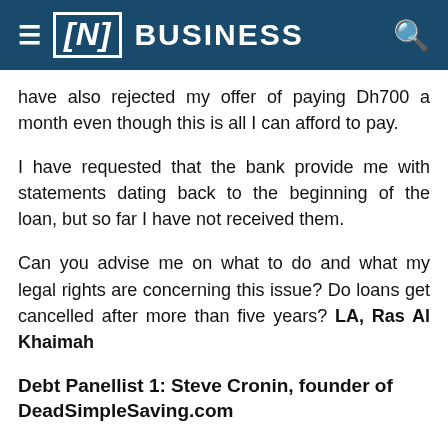≡ [N] BUSINESS 🔍
have also rejected my offer of paying Dh700 a month even though this is all I can afford to pay.
I have requested that the bank provide me with statements dating back to the beginning of the loan, but so far I have not received them.
Can you advise me on what to do and what my legal rights are concerning this issue? Do loans get cancelled after more than five years? LA, Ras Al Khaimah
Debt Panellist 1: Steve Cronin, founder of DeadSimpleSaving.com